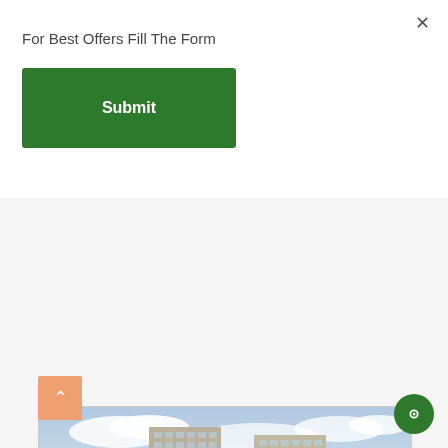For Best Offers Fill The Form
Submit
[Figure (photo): Aerial/perspective view of a large modern residential apartment complex with multiple high-rise towers surrounded by trees, with a road in the foreground and a car visible]
< (previous image navigation)
> (next image navigation)
^ (scroll up button)
Chat button (circular green icon)